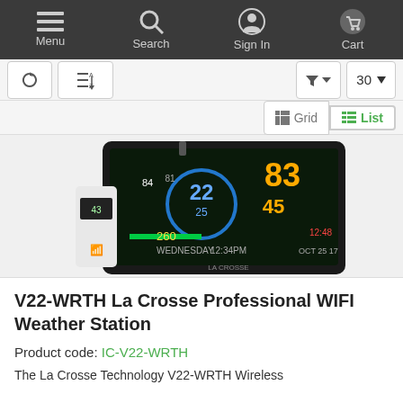Menu  Search  Sign In  Cart
[Figure (screenshot): Navigation toolbar with filter, sort (30), Grid and List view toggle buttons]
[Figure (photo): La Crosse V22-WRTH WiFi Weather Station product photo showing display unit with colorful screen and wireless sensor]
V22-WRTH La Crosse Professional WIFI Weather Station
Product code: IC-V22-WRTH
The La Crosse Technology V22-WRTH Wireless